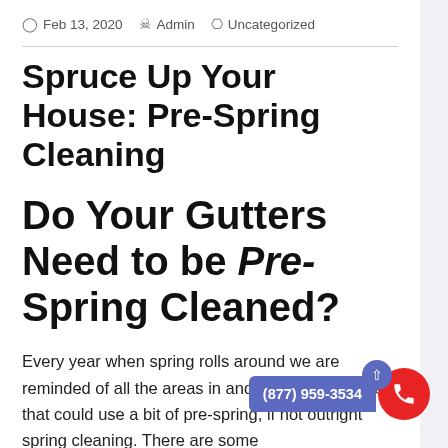Feb 13, 2020  Admin  Uncategorized
Spruce Up Your House: Pre-Spring Cleaning
Do Your Gutters Need to be Pre-Spring Cleaned?
Every year when spring rolls around we are reminded of all the areas in and around our homes that could use a bit of pre-spring, if not outright spring cleaning. There are some